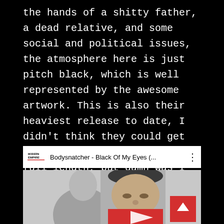the hands of a shitty father, a dead relative, and some social and political issues, the atmosphere here is just pitch black, which is well represented by the awesome artwork. This is also their heaviest release to date, I didn't think they could get any heavier than their debut full length, but damn was I wrong.
[Figure (screenshot): YouTube video bar showing 'Bodysnatcher - Black Of My Eyes (…' with Modern Empire logo and three-dot menu icon]
[Figure (screenshot): YouTube video thumbnail showing a black and white photo of a man's face with a red YouTube play button overlay and a red scroll-to-top button in the bottom right corner]